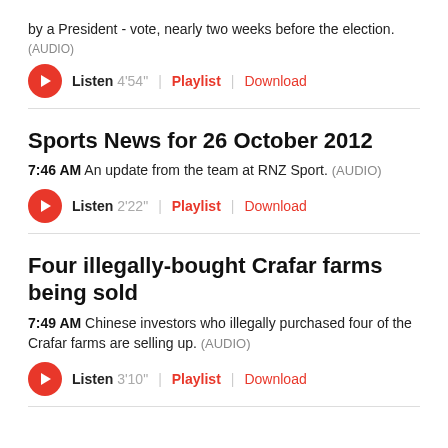by a President - vote, nearly two weeks before the election.
(AUDIO)
Listen 4'54" | Playlist | Download
Sports News for 26 October 2012
7:46 AM An update from the team at RNZ Sport. (AUDIO)
Listen 2'22" | Playlist | Download
Four illegally-bought Crafar farms being sold
7:49 AM Chinese investors who illegally purchased four of the Crafar farms are selling up. (AUDIO)
Listen 3'10" | Playlist | Download